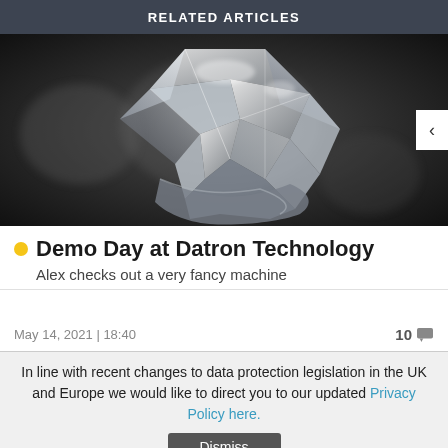RELATED ARTICLES
[Figure (photo): Close-up photo of a crystal/diamond geometric sculpture against a dark blurred background]
Demo Day at Datron Technology
Alex checks out a very fancy machine
May 14, 2021 | 18:40   10
In line with recent changes to data protection legislation in the UK and Europe we would like to direct you to our updated Privacy Policy here.
Dismiss